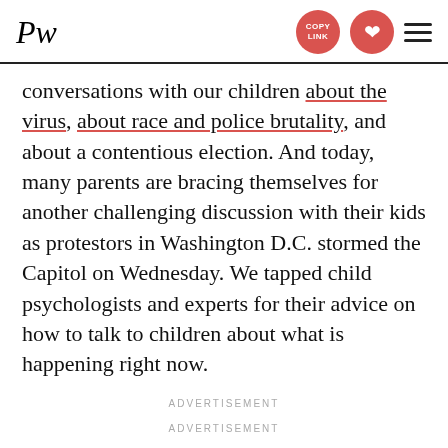PW [logo] | COPY LINK | Pinterest | Menu
conversations with our children about the virus, about race and police brutality, and about a contentious election. And today, many parents are bracing themselves for another challenging discussion with their kids as protestors in Washington D.C. stormed the Capitol on Wednesday. We tapped child psychologists and experts for their advice on how to talk to children about what is happening right now.
ADVERTISEMENT
ADVERTISEMENT
Do bring it up